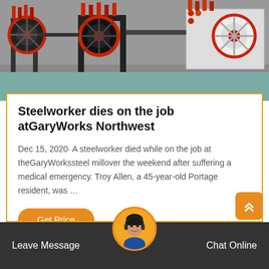[Figure (photo): Industrial machinery photo showing large red and black mill/crusher equipment on a factory floor, black and white with red color accents on the wheels and machinery parts, teal/aqua floor visible]
Steelworker dies on the job atGaryWorks Northwest
Dec 15, 2020· A steelworker died while on the job at theGaryWorkssteel millover the weekend after suffering a medical emergency. Troy Allen, a 45-year-old Portage resident, was …
Get Price
Leave Message   Chat Online